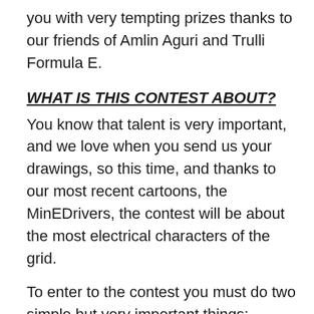you with very tempting prizes thanks to our friends of Amlin Aguri and Trulli Formula E.
WHAT IS THIS CONTEST ABOUT?
You know that talent is very important, and we love when you send us your drawings, so this time, and thanks to our most recent cartoons, the MinEDrivers, the contest will be about the most electrical characters of the grid.
To enter to the contest you must do two simple but very important things:
– You must make a drawing of your favorite Formula E team with the MinEDrivers. That drawing must be sent to our email adaco@losminidrivers.com with the subject MiniContest between December 31st and January 10th.
– Thanks to our friends of Amlin Aguri and Trulli Formula